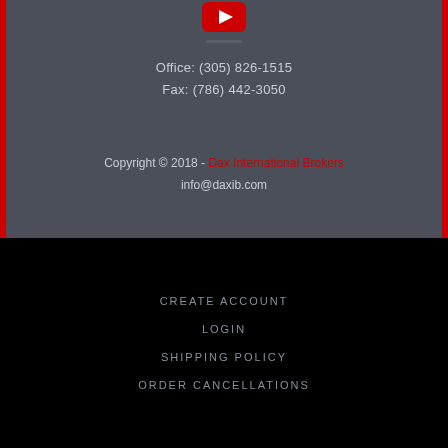[Figure (logo): YouTube logo icon in red and white, centered at top]
Office: (305) 826-1515
Fax: (786) 442-3050
Copyright © 2018 - Dax International Brokers
info@daxib.com
CREATE ACCOUNT
LOGIN
SHIPPING POLICY
ORDER CANCELLATIONS